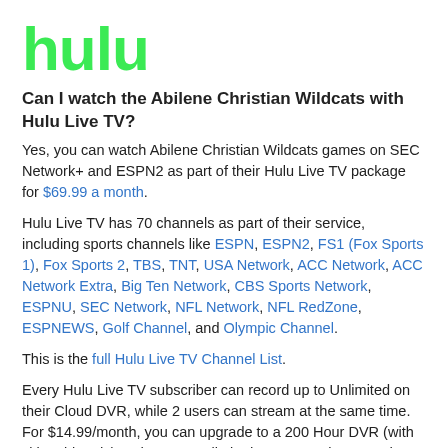[Figure (logo): Hulu logo in bold green text]
Can I watch the Abilene Christian Wildcats with Hulu Live TV?
Yes, you can watch Abilene Christian Wildcats games on SEC Network+ and ESPN2 as part of their Hulu Live TV package for $69.99 a month.
Hulu Live TV has 70 channels as part of their service, including sports channels like ESPN, ESPN2, FS1 (Fox Sports 1), Fox Sports 2, TBS, TNT, USA Network, ACC Network, ACC Network Extra, Big Ten Network, CBS Sports Network, ESPNU, SEC Network, NFL Network, NFL RedZone, ESPNEWS, Golf Channel, and Olympic Channel.
This is the full Hulu Live TV Channel List.
Every Hulu Live TV subscriber can record up to Unlimited on their Cloud DVR, while 2 users can stream at the same time. For $14.99/month, you can upgrade to a 200 Hour DVR (with skippable ads) and use on unlimited screens at home and three on the road.